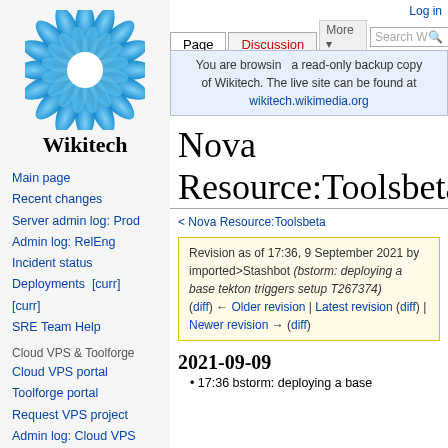[Figure (logo): Wikitech sunflower logo — circular blue/teal geometric flower with white center, above the text 'Wikitech']
Wikitech
Main page
Recent changes
Server admin log: Prod
Admin log: RelEng
Incident status
Deployments  [curr] [curr]
SRE Team Help
Cloud VPS & Toolforge
Cloud VPS portal
Toolforge portal
Request VPS project
Admin log: Cloud VPS
Log in
Page | Discussion | More | Search Wikitech
You are browsing a read-only backup copy of Wikitech. The live site can be found at wikitech.wikimedia.org
Nova Resource:Toolsbeta/SA
< Nova Resource:Toolsbeta
Revision as of 17:36, 9 September 2021 by imported>Stashbot (bstorm: deploying a base tekton triggers setup T267374)
(diff) ← Older revision | Latest revision (diff) | Newer revision → (diff)
2021-09-09
17:36 bstorm: deploying a base